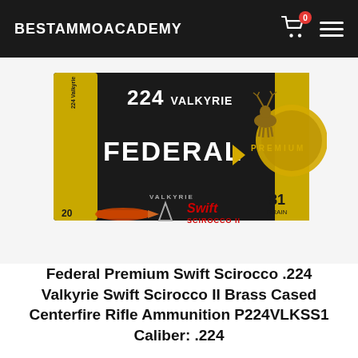BESTAMMOACADEMY
[Figure (photo): Federal Premium Swift Scirocco .224 Valkyrie ammunition box — black and gold box showing '224 VALKYRIE', 'FEDERAL PREMIUM', 'Swift Scirocco II' branding, 20 count, 81 grain, with an image of a deer and a bullet.]
Federal Premium Swift Scirocco .224 Valkyrie Swift Scirocco II Brass Cased Centerfire Rifle Ammunition P224VLKSS1 Caliber: .224